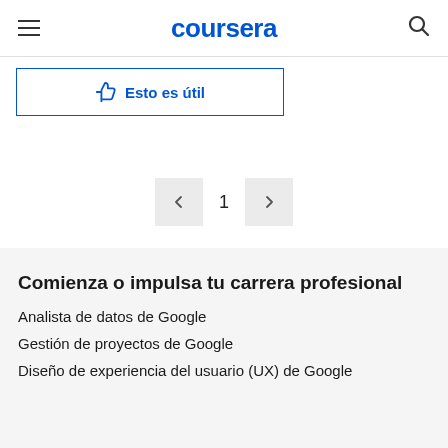coursera
Esto es útil
1
Comienza o impulsa tu carrera profesional
Analista de datos de Google
Gestión de proyectos de Google
Diseño de experiencia del usuario (UX) de Google